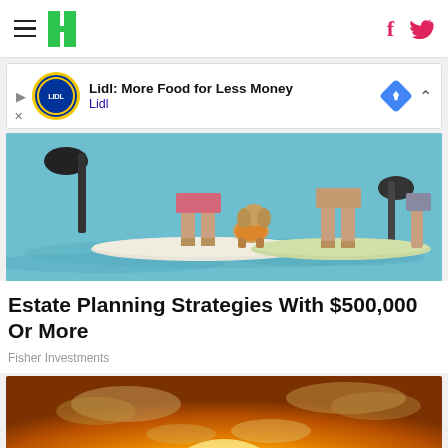HuffPost navigation header with hamburger menu, HuffPost logo, Facebook and Twitter icons
[Figure (screenshot): Advertisement banner: Lidl: More Food for Less Money — Lidl]
[Figure (photo): People and a dog standing on paddleboards on turquoise water]
Estate Planning Strategies With $500,000 Or More
Fisher Investments
[Figure (photo): Golden sunset with bright sun breaking through clouds]